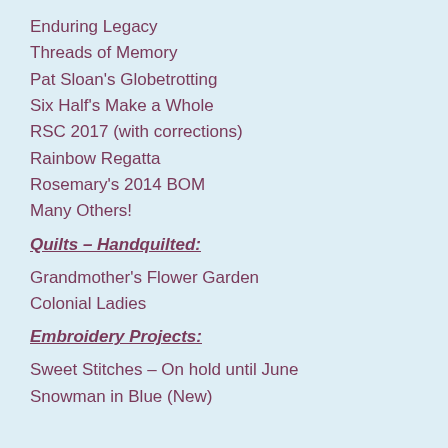Enduring Legacy
Threads of Memory
Pat Sloan's Globetrotting
Six Half's Make a Whole
RSC 2017 (with corrections)
Rainbow Regatta
Rosemary's 2014 BOM
Many Others!
Quilts – Handquilted:
Grandmother's Flower Garden
Colonial Ladies
Embroidery Projects:
Sweet Stitches – On hold until June
Snowman in Blue (New)